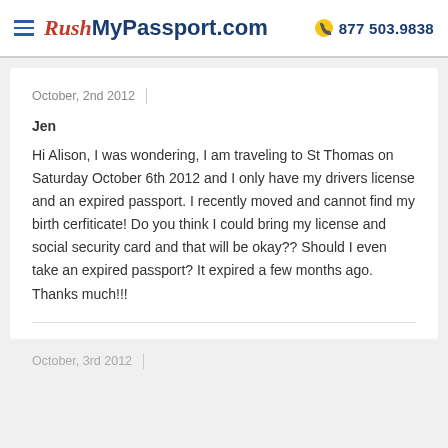RushMyPassport.com  877 503.9838
October, 2nd 2012
Jen
Hi Alison, I was wondering, I am traveling to St Thomas on Saturday October 6th 2012 and I only have my drivers license and an expired passport. I recently moved and cannot find my birth cerfiticate! Do you think I could bring my license and social security card and that will be okay?? Should I even take an expired passport? It expired a few months ago. Thanks much!!!
October, 3rd 2012